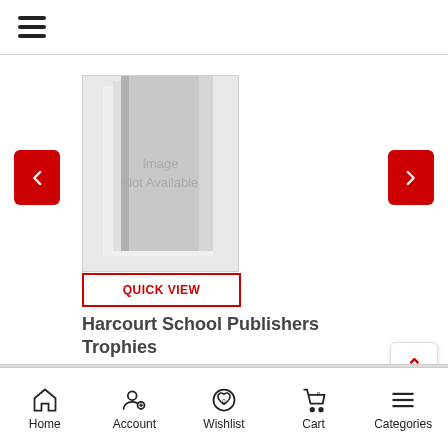[Figure (screenshot): Mobile e-commerce product page showing Harcourt School Publishers Trophies book with image not available placeholder, quick view button, price Rs.1,453 discounted from Rs.1,633, navigation arrows, and bottom navigation bar]
Image Not Available
QUICK VIEW
Harcourt School Publishers Trophies
Rs.1,453  Rs.1,633
Home  Account  Wishlist  Cart  Categories